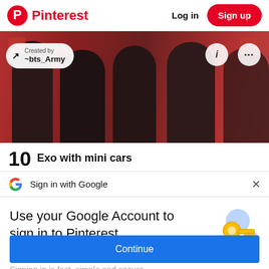Pinterest  Log in  Sign up
[Figure (photo): Group of people (BTS members) in front of red background with 'Created by ~bts_Army' pill overlay, info and more icons]
10  Exo with mini cars
Sign in with Google  ×
Use your Google Account to sign in to Pinterest
No more passwords to remember. Signing in is fast, simple and secure.
[Figure (illustration): Google sign-in illustration with golden key and colorful circles]
Continue